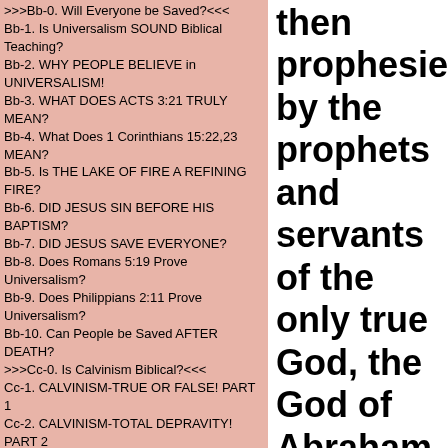>>>Bb-0. Will Everyone be Saved?<<<
Bb-1. Is Universalism SOUND Biblical Teaching?
Bb-2. WHY PEOPLE BELIEVE in UNIVERSALISM!
Bb-3. WHAT DOES ACTS 3:21 TRULY MEAN?
Bb-4. What Does 1 Corinthians 15:22,23 MEAN?
Bb-5. Is THE LAKE OF FIRE A REFINING FIRE?
Bb-6. DID JESUS SIN BEFORE HIS BAPTISM?
Bb-7. DID JESUS SAVE EVERYONE?
Bb-8. Does Romans 5:19 Prove Universalism?
Bb-9. Does Philippians 2:11 Prove Universalism?
Bb-10. Can People be Saved AFTER DEATH?
>>>Cc-0. Is Calvinism Biblical?<<<
Cc-1. CALVINISM-TRUE OR FALSE! PART 1
Cc-2. CALVINISM-TOTAL DEPRAVITY! PART 2
Cc-3. CALVINISM-TOTAL DEPRAVITY! PART 3
Cc-4. CALVINISM-Unconditional ELECTION! PART 4
Cc-5. CALVINISM-Unconditional ELECTION! PART 5
Cc-6 CALVINISM-LIMITED ATONEMENT! PART 6
Cc-7. CALVINISM - IRRESISTABLE GRACE! PART 7
Cc-8. CALVINISM-Perseverance of the Saints Part 8
Cc-9. ARE WE SAVED BY GRACE ALONE?
Cc-10. Is WATER BAPTISM a WORK?
Cc-11. SOUND BIBLICAL PREDESTINATION!
Cc-12. WHAT DOES FREE WILL TRULY MEAN?
then prophesied by the prophets and servants of the only true God, the God of Abraham, Isaac, and Jacob.
        No that Assyria is joined with